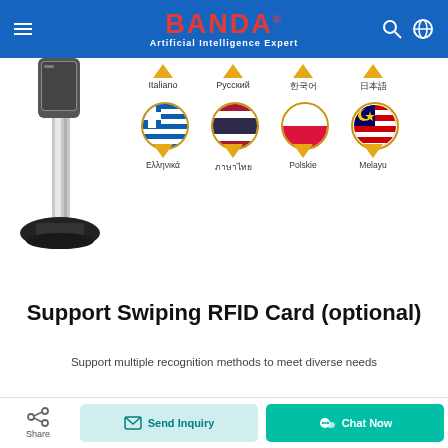BANDA® Artificial Intelligence Expert
[Figure (illustration): Device/kiosk on left side, language selection interface with flag pins showing Italiano, Русский, 한국어, 日本語, Ελληνικά, ภาษาไทย, Polskie, Melayu]
Support Swiping RFID Card (optional)
Support multiple recognition methods to meet diverse needs
Share | Send Inquiry | Chat Now